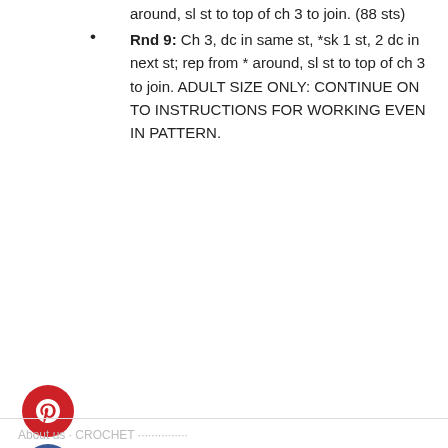around, sl st to top of ch 3 to join. (88 sts)
Rnd 9: Ch 3, dc in same st, *sk 1 st, 2 dc in next st; rep from * around, sl st to top of ch 3 to join. ADULT SIZE ONLY: CONTINUE ON TO INSTRUCTIONS FOR WORKING EVEN IN PATTERN.
[Figure (other): Social sharing buttons: Pinterest (red circle), Facebook (dark blue circle), Twitter (light blue circle)]